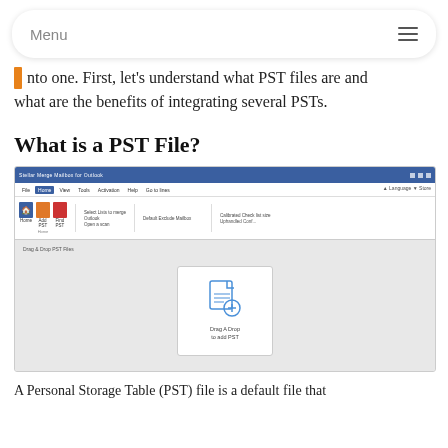Menu
into one. First, let's understand what PST files are and what are the benefits of integrating several PSTs.
What is a PST File?
[Figure (screenshot): Screenshot of a software application (Stellar Merge Mailbox for Outlook) showing a blue title bar, ribbon toolbar, and a drag-and-drop area with 'Drag A Drop to add PST' instruction and icon.]
A Personal Storage Table (PST) file is a default file that